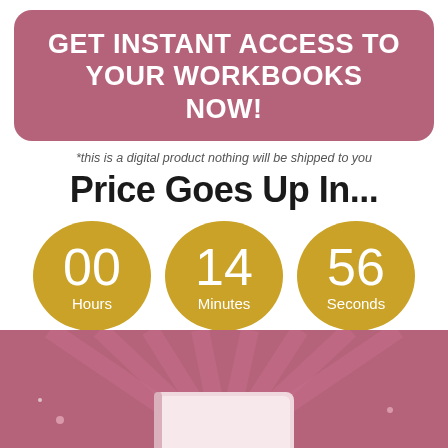GET INSTANT ACCESS TO YOUR WORKBOOKS NOW!
*this is a digital product nothing will be shipped to you
Price Goes Up In...
[Figure (infographic): Countdown timer showing 00 Hours, 14 Minutes, 56 Seconds on gold ellipse blobs]
[Figure (illustration): Pink/mauve background with radiating lines and partial view of a book or workbook at bottom]